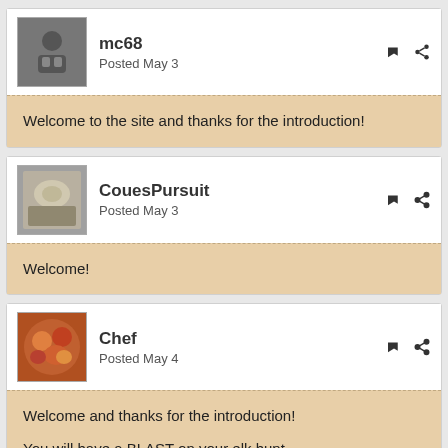mc68
Posted May 3
Welcome to the site and thanks for the introduction!
CouesPursuit
Posted May 3
Welcome!
Chef
Posted May 4
Welcome and thanks for the introduction!

You will have a BLAST on your elk hunt.

Hopefully you have plenty of time to be in the woods during your hunt.